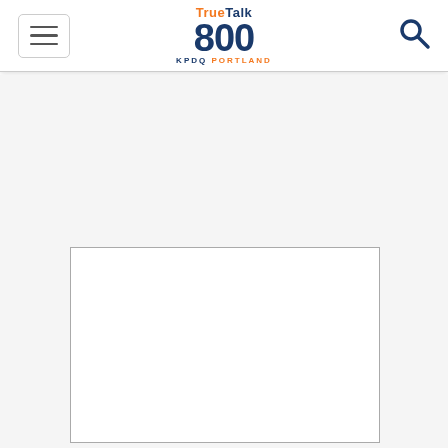TrueTalk 800 KPDQ PORTLAND — navigation header with hamburger menu and search icon
[Figure (other): White rectangular advertisement placeholder box with grey border in the lower portion of the page]